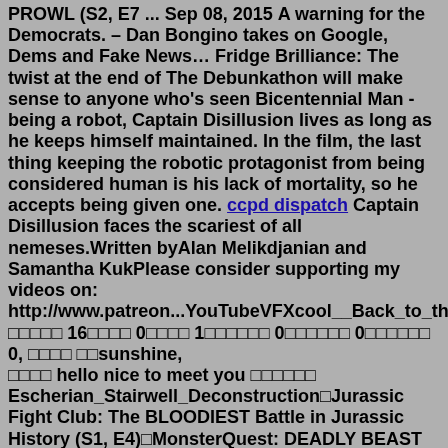PROWL (S2, E7 ... Sep 08, 2015 A warning for the Democrats. – Dan Bongino takes on Google, Dems and Fake News… Fridge Brilliance: The twist at the end of The Debunkathon will make sense to anyone who's seen Bicentennial Man - being a robot, Captain Disillusion lives as long as he keeps himself maintained. In the film, the last thing keeping the robotic protagonist from being considered human is his lack of mortality, so he accepts being given one. ccpd dispatch Captain Disillusion faces the scariest of all nemeses.Written byAlan Melikdjanian and Samantha KukPlease consider supporting my videos on: http://www.patreon...YouTubeVFXcool__Back_to_the_ □□□□□ 16□□□□ 0□□□□ 1□□□□□□ 0□□□□□□ 0□□□□□□ 0, □□□□ □□sunshine, □□□□ hello nice to meet you □□□□□□ Escherian_Stairwell_Deconstruction□Jurassic Fight Club: The BLOODIEST Battle in Jurassic History (S1, E4)□MonsterQuest: DEADLY BEAST ON THE PROWL (S2, E7 ... Inspections will continue long after the nominal 10-year point, contrary to his claim